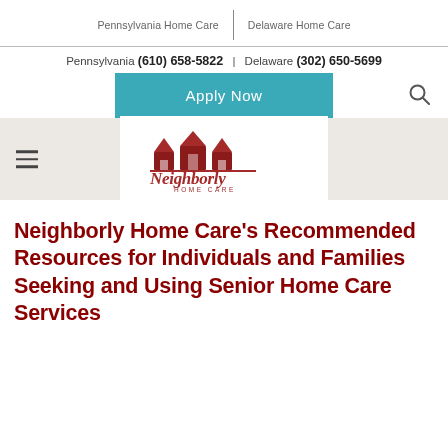Pennsylvania Home Care | Delaware Home Care
Pennsylvania (610) 658-5822 | Delaware (302) 650-5699
[Figure (screenshot): Apply Now button (teal/blue-green) and search icon]
[Figure (logo): Neighborly Home Care logo with red house icons and stylized text]
Neighborly Home Care's Recommended Resources for Individuals and Families Seeking and Using Senior Home Care Services